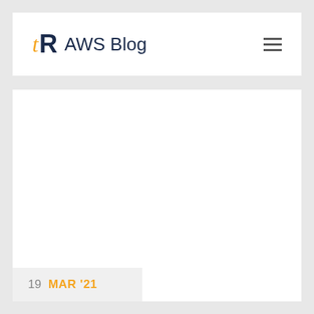tR AWS Blog
[Figure (other): Large white blank content area with a date badge in the bottom-left corner showing '19 MAR '21']
19 MAR '21